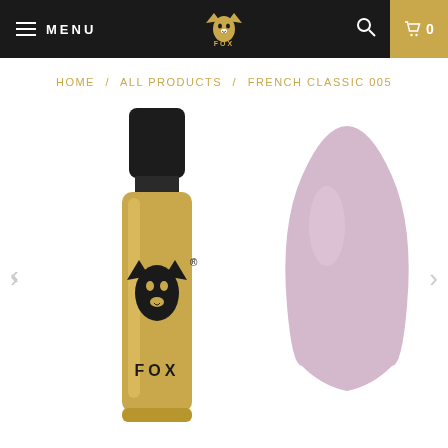MENU | FOX logo | search | cart 0
HOME / ALL PRODUCTS / FRENCH CLASSIC 005
[Figure (photo): F.O.X nail gel polish bottle with gold label and black cap, shown next to a nail swatch painted in a soft pink/mauve color (French Classic 005). Navigation arrows on left and right sides.]